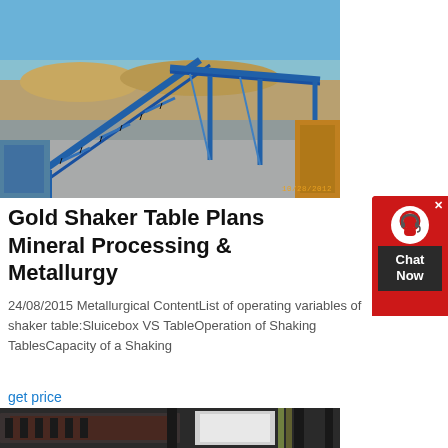[Figure (photo): Outdoor mining/mineral processing facility with blue metal conveyor belt structures and machinery, photographed on 10/28/2012]
Gold Shaker Table Plans Mineral Processing & Metallurgy
24/08/2015 Metallurgical ContentList of operating variables of shaker table:Sluicebox VS TableOperation of Shaking TablesCapacity of a Shaking
get price
[Figure (photo): Close-up of industrial shaker table mechanical equipment, dark metal components]